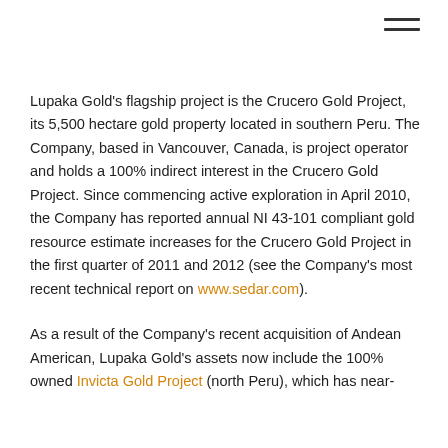[Figure (other): Hamburger menu icon (three horizontal lines) in the top right corner]
Lupaka Gold's flagship project is the Crucero Gold Project, its 5,500 hectare gold property located in southern Peru. The Company, based in Vancouver, Canada, is project operator and holds a 100% indirect interest in the Crucero Gold Project. Since commencing active exploration in April 2010, the Company has reported annual NI 43-101 compliant gold resource estimate increases for the Crucero Gold Project in the first quarter of 2011 and 2012 (see the Company's most recent technical report on www.sedar.com).
As a result of the Company's recent acquisition of Andean American, Lupaka Gold's assets now include the 100% owned Invicta Gold Project (north Peru), which has near-